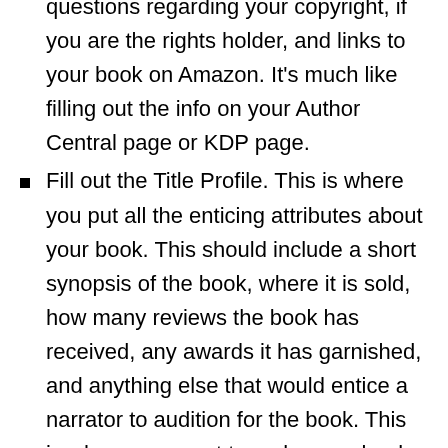Fill in the metadata for your book and answer a few questions regarding your copyright, if you are the rights holder, and links to your book on Amazon. It's much like filling out the info on your Author Central page or KDP page.
Fill out the Title Profile. This is where you put all the enticing attributes about your book. This should include a short synopsis of the book, where it is sold, how many reviews the book has received, any awards it has garnished, and anything else that would entice a narrator to audition for the book. This is where you want to make your book shine. All of this information, including your Twitter following, and your Facebook fan base will be placed on an open forum for all of the narrators to see before they submit for auditions.
You can post cover art…but you must make sure it is a square cover, with ACX specifications ( I did a blog